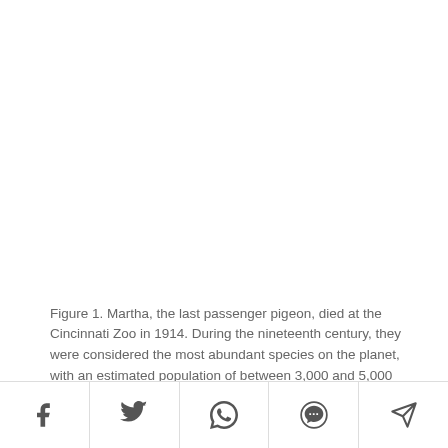Figure 1. Martha, the last passenger pigeon, died at the Cincinnati Zoo in 1914. During the nineteenth century, they were considered the most abundant species on the planet, with an estimated population of between 3,000 and 5,000 million individuals. The extinction of this species is attributed to the destruction of its habitats and, above all, intensive hunting to feed slaves and for sport. In a hunting contest, winners
[Figure (other): Social share bar with icons for Facebook, Twitter, WhatsApp, SMS, and Telegram]